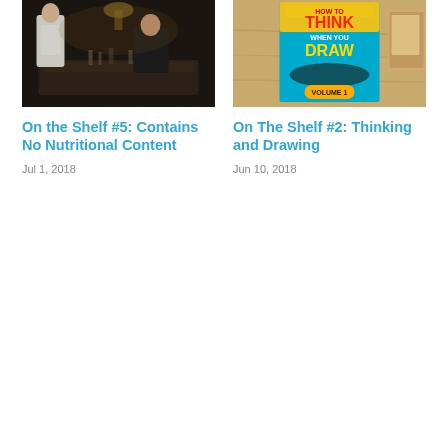[Figure (photo): Dark dinner scene with two people sitting at a table in a dimly lit room]
On the Shelf #5: Contains No Nutritional Content
Jul 1, 2018
[Figure (photo): Colorful book cover 'How to Think When You Draw Volume 1' on a wooden surface]
On The Shelf #2: Thinking and Drawing
Jun 10, 2018